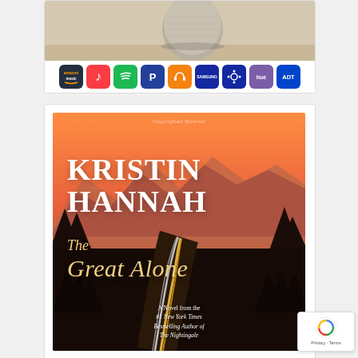[Figure (photo): Amazon Echo smart speaker on a wooden surface, partially visible at top. Below it a row of service icons: Amazon Music, Apple Music, Spotify, Pandora, Audible, Samsung, SmartThings, Hue, ADT.]
[Figure (photo): Book cover for 'The Great Alone' by Kristin Hannah. Features a dramatic mountain/sunset landscape with a winding road and light trails in the foreground. Text reads: 'KRISTIN HANNAH', 'The Great Alone', 'A Novel from the #1 New York Times Bestselling Author of The Nightingale'. Watermark: 'Copyrighted Material'.]